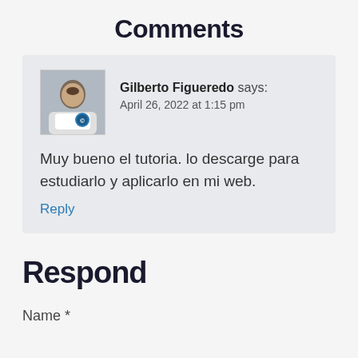Comments
Gilberto Figueredo says:
April 26, 2022 at 1:15 pm

Muy bueno el tutoria. lo descarge para estudiarlo y aplicarlo en mi web.
Reply
Respond
Name *